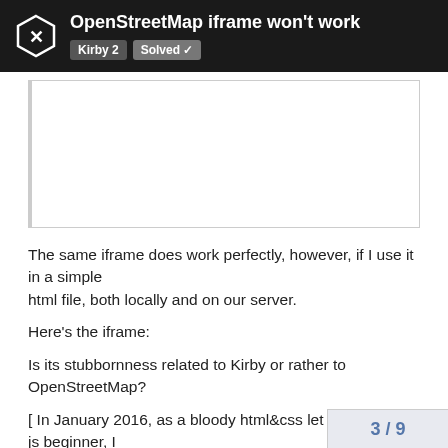OpenStreetMap iframe won't work | Kirby 2 | Solved
[Figure (screenshot): White empty box with border, representing an iframe code block area]
The same iframe does work perfectly, however, if I use it in a simple
html file, both locally and on our server.
Here's the iframe:
Is its stubbornness related to Kirby or rather to OpenStreetMap?
[ In January 2016, as a bloody html&css let alone php or js beginner, I
compared Kirby to Joomla, Wordpress, Typo3, Drupal, Contao, Redaxo, and
what not. There's nothing as manageable a
3 / 9